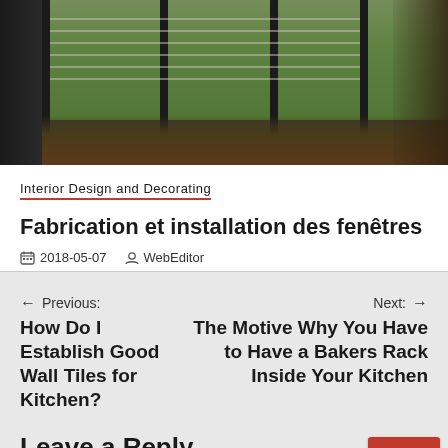[Figure (photo): Interior photo showing large window with dark frames, horizontal blinds, and curtains, with greenery visible outside]
Interior Design and Decorating
Fabrication et installation des fenêtres
2018-05-07   WebEditor
← Previous:
How Do I Establish Good Wall Tiles for Kitchen?
Next: →
The Motive Why You Have to Have a Bakers Rack Inside Your Kitchen
Leave a Reply